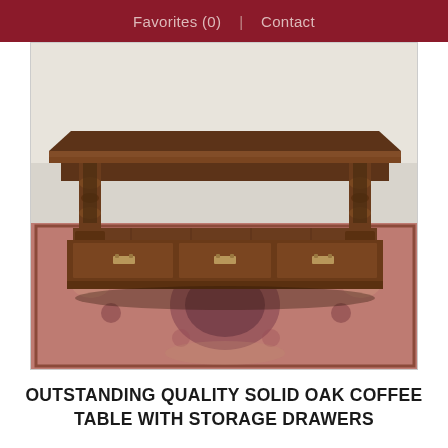Favorites (0)  |  Contact
[Figure (photo): Photograph of a solid oak coffee table with turned legs, lower shelf, and three storage drawers with brass handles, placed on a patterned oriental rug.]
OUTSTANDING QUALITY SOLID OAK COFFEE TABLE WITH STORAGE DRAWERS